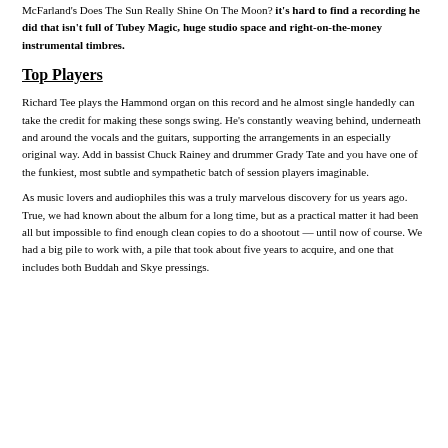McFarland's Does The Sun Really Shine On The Moon? it's hard to find a recording he did that isn't full of Tubey Magic, huge studio space and right-on-the-money instrumental timbres.
Top Players
Richard Tee plays the Hammond organ on this record and he almost single handedly can take the credit for making these songs swing. He's constantly weaving behind, underneath and around the vocals and the guitars, supporting the arrangements in an especially original way. Add in bassist Chuck Rainey and drummer Grady Tate and you have one of the funkiest, most subtle and sympathetic batch of session players imaginable.
As music lovers and audiophiles this was a truly marvelous discovery for us years ago. True, we had known about the album for a long time, but as a practical matter it had been all but impossible to find enough clean copies to do a shootout — until now of course. We had a big pile to work with, a pile that took about five years to acquire, and one that includes both Buddah and Skye pressings.